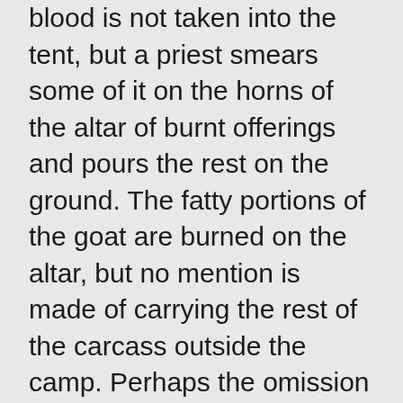blood is not taken into the tent, but a priest smears some of it on the horns of the altar of burnt offerings and pours the rest on the ground. The fatty portions of the goat are burned on the altar, but no mention is made of carrying the rest of the carcass outside the camp. Perhaps the omission is intentional, expecting that if a ruler sins the ruler can be forgiven but the effects of the sin are never completely removed from the people.
27-31: If an ordinary citizen commits an unintentional breach of the Law, the same process is followed as with the ruler except